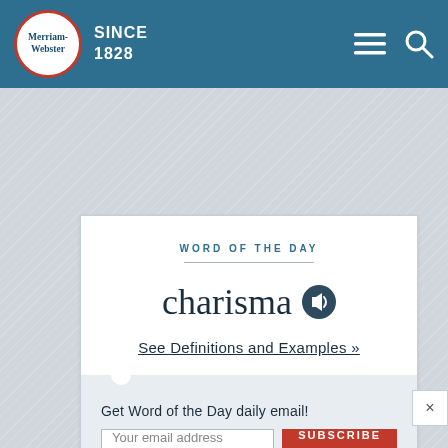Merriam-Webster SINCE 1828
WORD OF THE DAY
charisma
See Definitions and Examples »
Get Word of the Day daily email!
Your email address
SUBSCRIBE